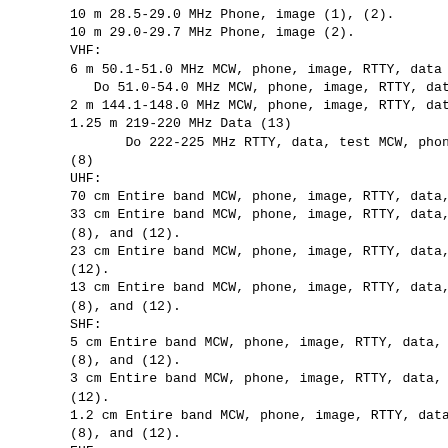10 m 28.5-29.0 MHz Phone, image (1), (2).
10 m 29.0-29.7 MHz Phone, image (2).
VHF:
6 m 50.1-51.0 MHz MCW, phone, image, RTTY, data (2), m
   Do 51.0-54.0 MHz MCW, phone, image, RTTY, data, tes
2 m 144.1-148.0 MHz MCW, phone, image, RTTY, data, tes
1.25 m 219-220 MHz Data (13)
       Do 222-225 MHz RTTY, data, test MCW, phone, SS,
(8)
UHF:
70 cm Entire band MCW, phone, image, RTTY, data, SS, f
33 cm Entire band MCW, phone, image, RTTY, data, SS, f
(8), and (12).
23 cm Entire band MCW, phone, image, RTTY, data, SS, f
(12).
13 cm Entire band MCW, phone, image, RTTY, data, SS, f
(8), and (12).
SHF:
5 cm Entire band MCW, phone, image, RTTY, data, SS, te
(8), and (12).
3 cm Entire band MCW, phone, image, RTTY, data, SS, te
(12).
1.2 cm Entire band MCW, phone, image, RTTY, data, SS,
(8), and (12).
EHF:
6 mm Entire band MCW, phone, image, RTTY, data, SS, te
(8), and (12).
4 mm Entire band MCW, phone, image, RTTY, data, SS, te
(8), and (12).
2.5 mm Entire band MCW, phone, image, RTTY, data, SS,